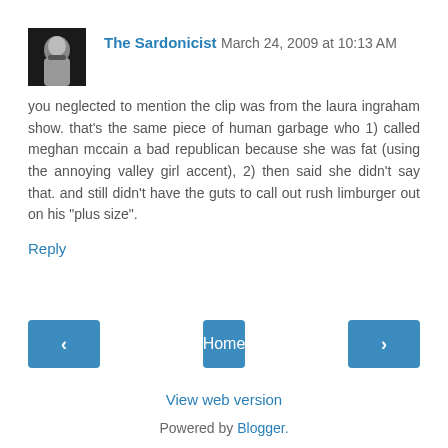[Figure (photo): Small avatar photo of a person with a mustache, in black and white]
The Sardonicist March 24, 2009 at 10:13 AM
you neglected to mention the clip was from the laura ingraham show. that's the same piece of human garbage who 1) called meghan mccain a bad republican because she was fat (using the annoying valley girl accent), 2) then said she didn't say that. and still didn't have the guts to call out rush limburger out on his "plus size".
Reply
Home
View web version
Powered by Blogger.